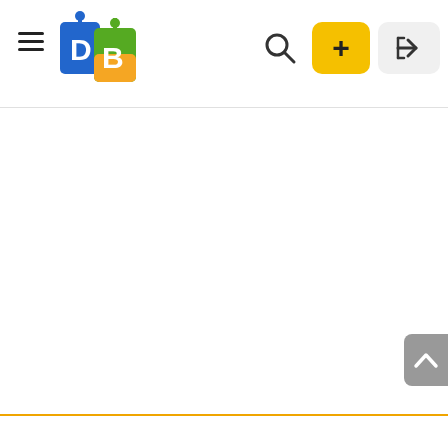[Figure (logo): DealBuzzer DB logo with blue D tag and green-orange B tag]
[Figure (illustration): Search/magnifying glass icon in navigation bar]
[Figure (illustration): Yellow plus button in navigation bar]
[Figure (illustration): Login/sign-in arrow button in navigation bar]
[Figure (illustration): Gray scroll-to-top chevron button on right side]
[Figure (illustration): Orange/yellow horizontal divider line near bottom]